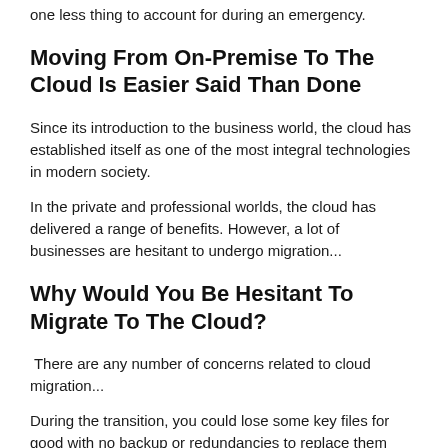one less thing to account for during an emergency.
Moving From On-Premise To The Cloud Is Easier Said Than Done
Since its introduction to the business world, the cloud has established itself as one of the most integral technologies in modern society.
In the private and professional worlds, the cloud has delivered a range of benefits. However, a lot of businesses are hesitant to undergo migration...
Why Would You Be Hesitant To Migrate To The Cloud?
There are any number of concerns related to cloud migration...
During the transition, you could lose some key files for good with no backup or redundancies to replace them